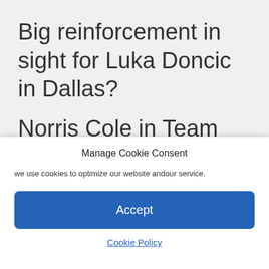Big reinforcement in sight for Luka Doncic in Dallas?
Norris Cole in Team USA squad for AmeriCup
Manage Cookie Consent
we use cookies to optimize our website andour service.
Accept
Cookie Policy